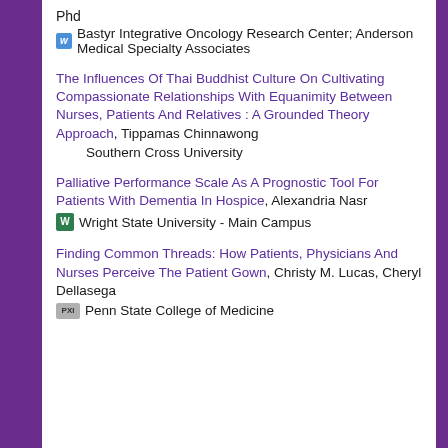Phd
Bastyr Integrative Oncology Research Center; Anderson Medical Specialty Associates
The Influences Of Thai Buddhist Culture On Cultivating Compassionate Relationships With Equanimity Between Nurses, Patients And Relatives : A Grounded Theory Approach, Tippamas Chinnawong
    Southern Cross University
Palliative Performance Scale As A Prognostic Tool For Patients With Dementia In Hospice, Alexandria Nasr
Wright State University - Main Campus
Finding Common Threads: How Patients, Physicians And Nurses Perceive The Patient Gown, Christy M. Lucas, Cheryl Dellasega
Penn State College of Medicine